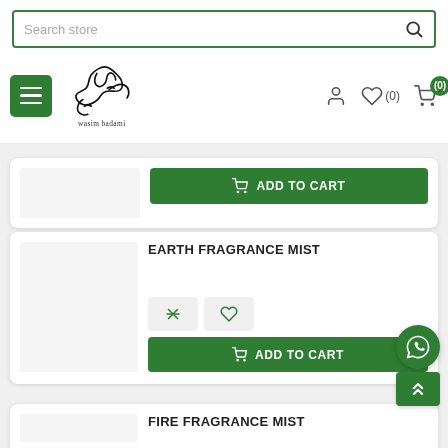[Figure (screenshot): Search store input field with magnifying glass icon, green border]
[Figure (logo): Wasim Badami store logo with Arabic calligraphy and text 'wasim badami', hamburger menu icon, user icon, wishlist icon with (0), cart icon with badge (0)]
[Figure (screenshot): Partial product card with green ADD TO CART button visible at top]
EARTH FRAGRANCE MIST
[Figure (screenshot): Product action buttons: compare icon and heart/wishlist icon, followed by green ADD TO CART button]
FIRE FRAGRANCE MIST